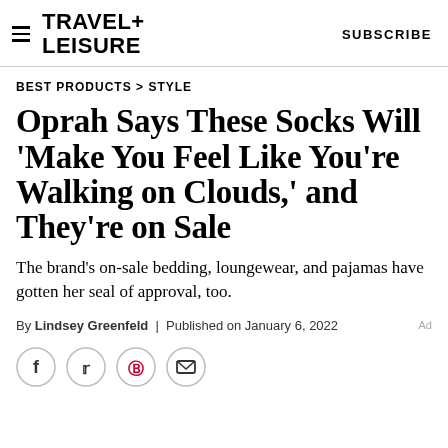TRAVEL+ LEISURE   SUBSCRIBE
BEST PRODUCTS > STYLE
Oprah Says These Socks Will 'Make You Feel Like You're Walking on Clouds,' and They're on Sale
The brand's on-sale bedding, loungewear, and pajamas have gotten her seal of approval, too.
By Lindsey Greenfeld | Published on January 6, 2022
[Figure (other): Social share icons: Facebook, Twitter, Pinterest, Email]